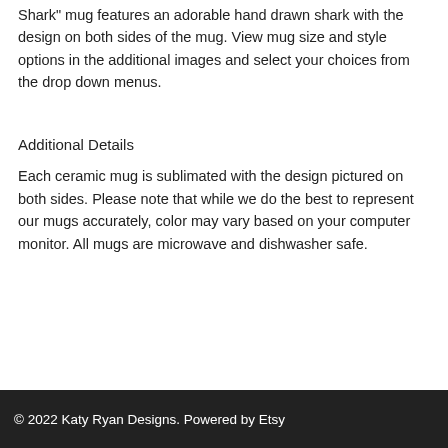Shark" mug features an adorable hand drawn shark with the design on both sides of the mug. View mug size and style options in the additional images and select your choices from the drop down menus.
Additional Details
Each ceramic mug is sublimated with the design pictured on both sides. Please note that while we do the best to represent our mugs accurately, color may vary based on your computer monitor. All mugs are microwave and dishwasher safe.
© 2022 Katy Ryan Designs. Powered by Etsy